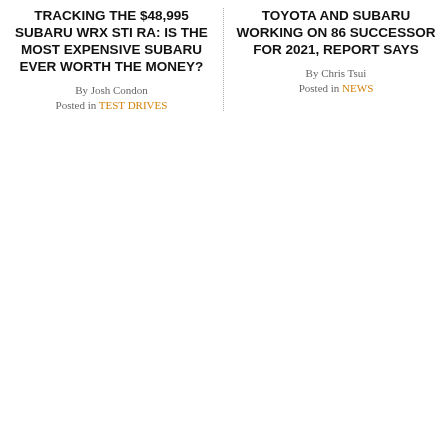TRACKING THE $48,995 SUBARU WRX STI RA: IS THE MOST EXPENSIVE SUBARU EVER WORTH THE MONEY?
By Josh Condon
Posted in TEST DRIVES
TOYOTA AND SUBARU WORKING ON 86 SUCCESSOR FOR 2021, REPORT SAYS
By Chris Tsui
Posted in NEWS